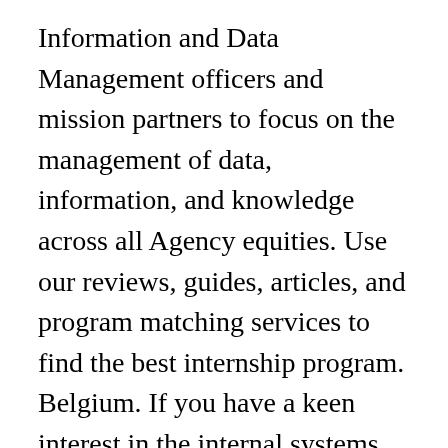Information and Data Management officers and mission partners to focus on the management of data, information, and knowledge across all Agency equities. Use our reviews, guides, articles, and program matching services to find the best internship program. Belgium. If you have a keen interest in the internal systems (e.g., hardware and software) and processes used to collect and deliver information within an organization, then pursuing a master’s in information systems degree might be the perfect fit for you. Introduction to Java Programming; Data Structures and Algorithms; Data Communications and Networking; Database Management Systems and Information Systems Analysis and...